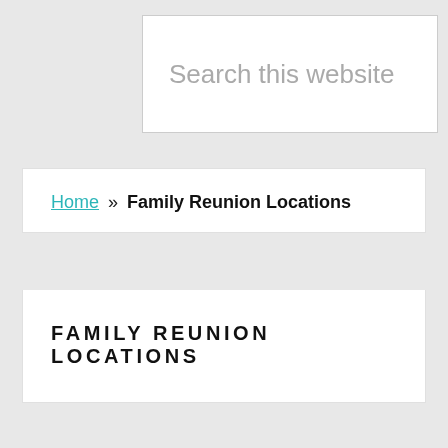Search this website
Home » Family Reunion Locations
FAMILY REUNION LOCATIONS